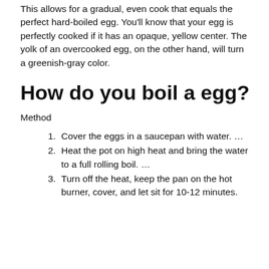This allows for a gradual, even cook that equals the perfect hard-boiled egg. You'll know that your egg is perfectly cooked if it has an opaque, yellow center. The yolk of an overcooked egg, on the other hand, will turn a greenish-gray color.
How do you boil a egg?
Method
Cover the eggs in a saucepan with water. …
Heat the pot on high heat and bring the water to a full rolling boil. …
Turn off the heat, keep the pan on the hot burner, cover, and let sit for 10-12 minutes.